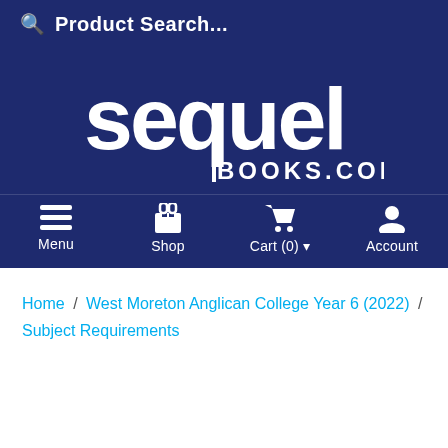Product Search...
[Figure (logo): Sequel Books.com logo — white text on dark blue background]
Menu  Shop  Cart (0)  Account
Home / West Moreton Anglican College Year 6 (2022) / Subject Requirements